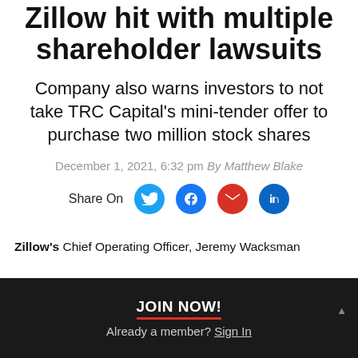Zillow hit with multiple shareholder lawsuits
Company also warns investors to not take TRC Capital's mini-tender offer to purchase two million stock shares
December 1, 2021, 6:32 pm By Matthew Blake
[Figure (infographic): Share On buttons: Twitter, Facebook, Email, LinkedIn]
Zillow's Chief Operating Officer, Jeremy Wacksman
JOIN NOW!
Already a member? Sign In